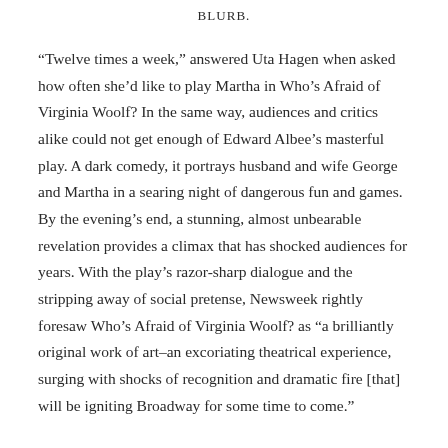BLURB.
“Twelve times a week,” answered Uta Hagen when asked how often she’d like to play Martha in Who’s Afraid of Virginia Woolf? In the same way, audiences and critics alike could not get enough of Edward Albee’s masterful play. A dark comedy, it portrays husband and wife George and Martha in a searing night of dangerous fun and games. By the evening’s end, a stunning, almost unbearable revelation provides a climax that has shocked audiences for years. With the play’s razor-sharp dialogue and the stripping away of social pretense, Newsweek rightly foresaw Who’s Afraid of Virginia Woolf? as “a brilliantly original work of art–an excoriating theatrical experience, surging with shocks of recognition and dramatic fire [that] will be igniting Broadway for some time to come.”